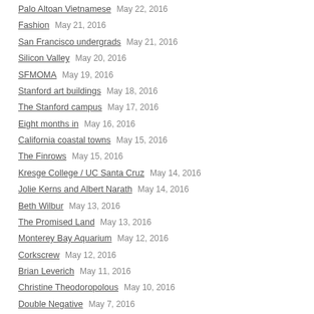Palo Altoan Vietnamese  May 22, 2016
Fashion  May 21, 2016
San Francisco undergrads  May 21, 2016
Silicon Valley  May 20, 2016
SFMOMA  May 19, 2016
Stanford art buildings  May 18, 2016
The Stanford campus  May 17, 2016
Eight months in  May 16, 2016
California coastal towns  May 15, 2016
The Finrows  May 15, 2016
Kresge College / UC Santa Cruz  May 14, 2016
Jolie Kerns and Albert Narath  May 14, 2016
Beth Wilbur  May 13, 2016
The Promised Land  May 13, 2016
Monterey Bay Aquarium  May 12, 2016
Corkscrew  May 12, 2016
Brian Leverich  May 11, 2016
Christine Theodoropolous  May 10, 2016
Double Negative  May 7, 2016